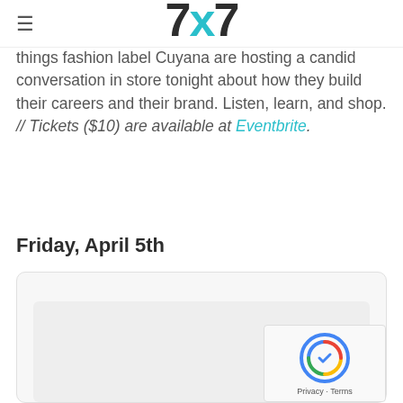7x7 (logo with hamburger menu)
things fashion label Cuyana are hosting a candid conversation in store tonight about how they build their careers and their brand. Listen, learn, and shop. // Tickets ($10) are available at Eventbrite.
Friday, April 5th
[Figure (other): Card/panel area with inner content region, a reCAPTCHA badge visible in the lower right corner showing Privacy - Terms text]